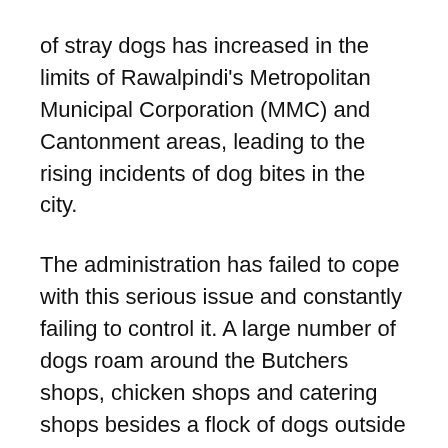of stray dogs has increased in the limits of Rawalpindi's Metropolitan Municipal Corporation (MMC) and Cantonment areas, leading to the rising incidents of dog bites in the city.
The administration has failed to cope with this serious issue and constantly failing to control it. A large number of dogs roam around the Butchers shops, chicken shops and catering shops besides a flock of dogs outside the wedding halls across the city.